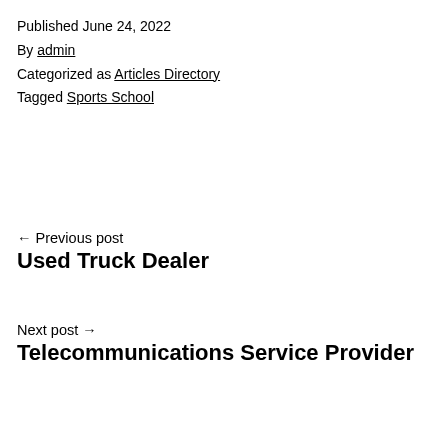Published June 24, 2022
By admin
Categorized as Articles Directory
Tagged Sports School
← Previous post
Used Truck Dealer
Next post →
Telecommunications Service Provider